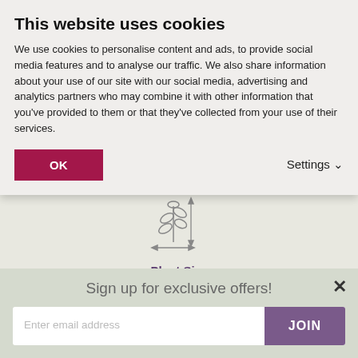This website uses cookies
We use cookies to personalise content and ads, to provide social media features and to analyse our traffic. We also share information about your use of our site with our social media, advertising and analytics partners who may combine it with other information that you've provided to them or that they've collected from your use of their services.
OK
Settings ∨
[Figure (illustration): Line illustration of a plant with measurement arrows indicating height and spread]
Plant Size
Height Up To 50cm (20in)
Spread Up To 30cm (12in)
Sign up for exclusive offers!
Enter email address
JOIN